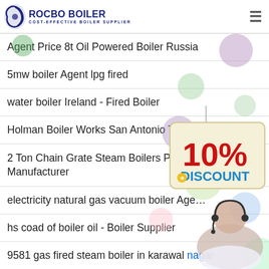ROCBO BOILER — COST-EFFECTIVE BOILER SUPPLIER
Agent Price 8t Oil Powered Boiler Russia
5mw boiler Agent lpg fired
water boiler Ireland - Fired Boiler
Holman Boiler Works San Antonio Texas A...
2 Ton Chain Grate Steam Boilers Price B... Manufacturer
electricity natural gas vacuum boiler Age...
hs coad of boiler oil - Boiler Supplier
9581 gas fired steam boiler in karawal nagar
[Figure (infographic): 10% DISCOUNT sign hanging, with decorative bubbles and a customer service representative photo on the right side of the page]